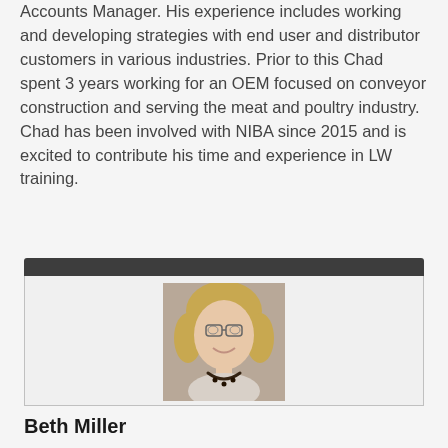Accounts Manager. His experience includes working and developing strategies with end user and distributor customers in various industries. Prior to this Chad spent 3 years working for an OEM focused on conveyor construction and serving the meat and poultry industry. Chad has been involved with NIBA since 2015 and is excited to contribute his time and experience in LW training.
[Figure (photo): Portrait photo of Beth Miller, a woman with blonde hair and glasses, smiling, wearing a patterned top and dark beaded necklace, displayed in a card with a dark header bar.]
Beth Miller